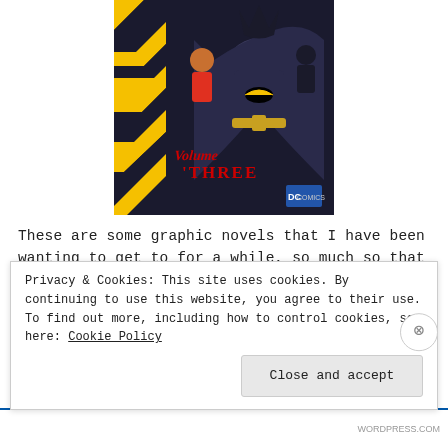[Figure (illustration): Batman animated series Volume Three comic/graphic novel cover. Shows Batman, Robin, and other characters against a dark background with yellow-black diagonal hazard stripes on the left side. Red stylized text reads 'Volume THREE' in the lower center.]
These are some graphic novels that I have been wanting to get to for a while, so much so that Nightwing appeared on the TBR for a challenge earlier in the year. Graphic novels are perfect for reading challenges
Privacy & Cookies: This site uses cookies. By continuing to use this website, you agree to their use.
To find out more, including how to control cookies, see here: Cookie Policy
Close and accept